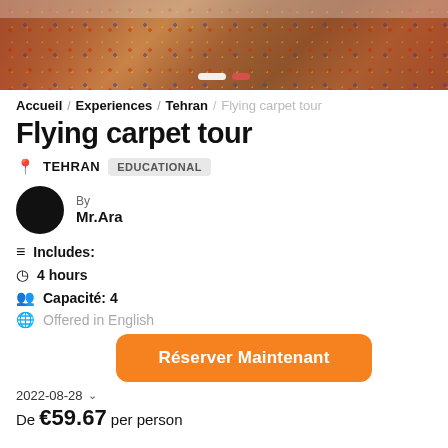[Figure (photo): Hero image showing a colorful Persian/Iranian carpet with decorative patterns, partially visible with navigation dots overlay]
Accueil / Experiences / Tehran / Flying carpet tour
Flying carpet tour
📍 TEHRAN  EDUCATIONAL
By
Mr.Ara
Includes:
4 hours
Capacité: 4
Offered in English
Réserver Maintenant
2022-08-28
De €59.67 per person